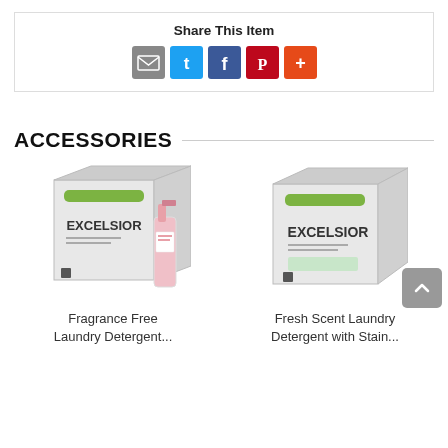Share This Item
[Figure (infographic): Social share icons: email (grey), Twitter (blue), Facebook (blue), Pinterest (red), More (orange-red)]
ACCESSORIES
[Figure (photo): Excelsior Fragrance Free Laundry Detergent box with spray bottle]
Fragrance Free Laundry Detergent...
[Figure (photo): Excelsior Fresh Scent Laundry Detergent with Stain box]
Fresh Scent Laundry Detergent with Stain...